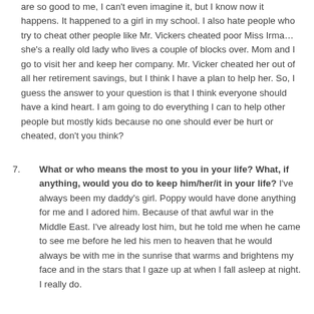are so good to me, I can't even imagine it, but I know now it happens. It happened to a girl in my school. I also hate people who try to cheat other people like Mr. Vickers cheated poor Miss Irma…she's a really old lady who lives a couple of blocks over. Mom and I go to visit her and keep her company. Mr. Vicker cheated her out of all her retirement savings, but I think I have a plan to help her. So, I guess the answer to your question is that I think everyone should have a kind heart. I am going to do everything I can to help other people but mostly kids because no one should ever be hurt or cheated, don't you think?
7. What or who means the most to you in your life? What, if anything, would you do to keep him/her/it in your life? I've always been my daddy's girl. Poppy would have done anything for me and I adored him. Because of that awful war in the Middle East. I've already lost him, but he told me when he came to see me before he led his men to heaven that he would always be with me in the sunrise that warms and brightens my face and in the stars that I gaze up at when I fall asleep at night. I really do.